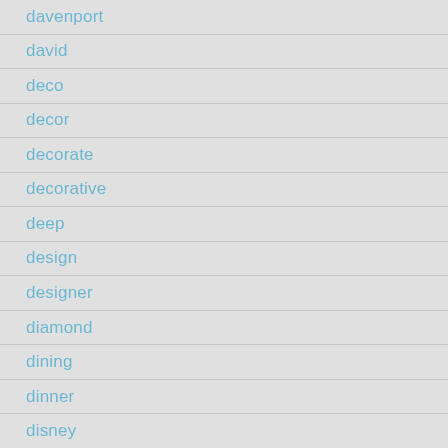davenport
david
deco
decor
decorate
decorative
deep
design
designer
diamond
dining
dinner
disney